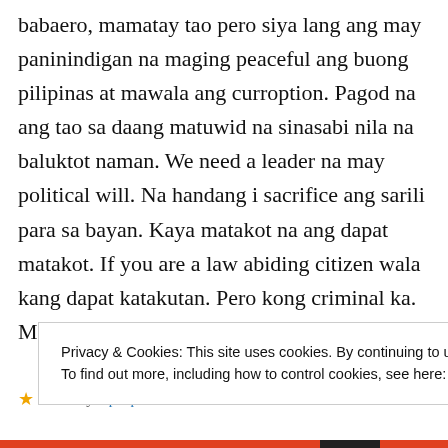babaero, mamatay tao pero siya lang ang may paninindigan na maging peaceful ang buong pilipinas at mawala ang curroption. Pagod na ang tao sa daang matuwid na sinasabi nila na baluktot naman. We need a leader na may political will. Na handang i sacrifice ang sarili para sa bayan. Kaya matakot na ang dapat matakot. If you are a law abiding citizen wala kang dapat katakutan. Pero kong criminal ka. Mag tago ka na sa saya ng nanay mo….
★ Liked by 2 people
Privacy & Cookies: This site uses cookies. By continuing to use this website, you agree to their use.
To find out more, including how to control cookies, see here: Cookie Policy
Close and accept